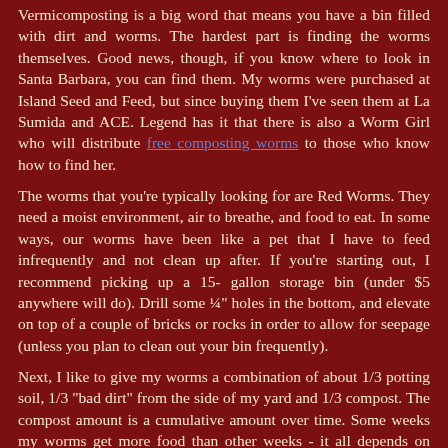Vermicomposting is a big word that means you have a bin filled with dirt and worms. The hardest part is finding the worms themselves. Good news, though, if you know where to look in Santa Barbara, you can find them. My worms were purchased at Island Seed and Feed, but since buying them I've seen them at La Sumida and ACE. Legend has it that there is also a Worm Girl who will distribute free composting worms to those who know how to find her.
The worms that you're typically looking for are Red Worms. They need a moist environment, air to breathe, and food to eat. In some ways, our worms have been like a pet that I have to feed infrequently and not clean up after. If you're starting out, I recommend picking up a 15- gallon storage bin (under $5 anywhere will do). Drill some ¼" holes in the bottom, and elevate on top of a couple of bricks or rocks in order to allow for seepage (unless you plan to clean out your bin frequently).
Next, I like to give my worms a combination of about 1/3 potting soil, 1/3 "bad dirt" from the side of my yard and 1/3 compost. The compost amount is a cumulative amount over time. Some weeks my worms get more food than other weeks - it all depends on what I'm cooking.